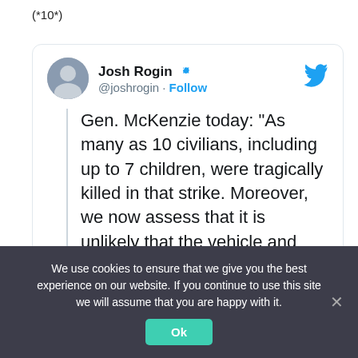(*10*)
[Figure (screenshot): Embedded tweet from Josh Rogin (@joshrogin) with verified badge. Tweet text: Gen. McKenzie today: "As many as 10 civilians, including up to 7 children, were tragically killed in that strike. Moreover, we now assess that it is unlikely that the vehicle and those who died were associated with ISIS-K."]
We use cookies to ensure that we give you the best experience on our website. If you continue to use this site we will assume that you are happy with it.